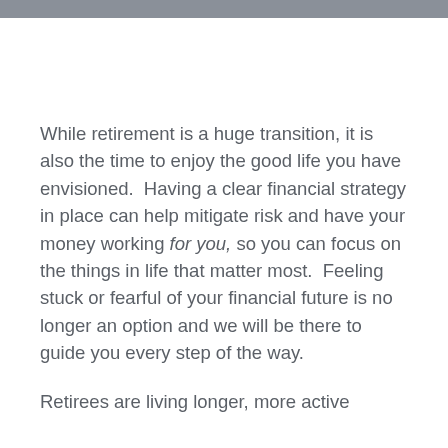While retirement is a huge transition, it is also the time to enjoy the good life you have envisioned.  Having a clear financial strategy in place can help mitigate risk and have your money working for you, so you can focus on the things in life that matter most.  Feeling stuck or fearful of your financial future is no longer an option and we will be there to guide you every step of the way.
Retirees are living longer, more active